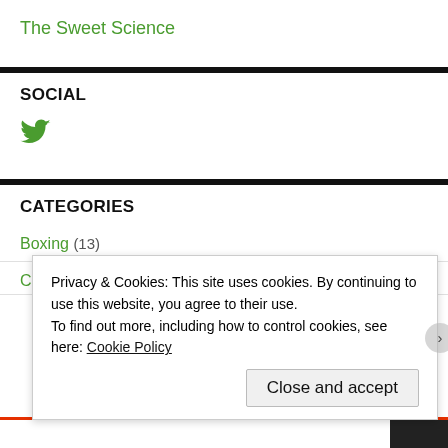The Sweet Science
SOCIAL
[Figure (logo): Twitter bird icon in green]
CATEGORIES
Boxing (13)
Privacy & Cookies: This site uses cookies. By continuing to use this website, you agree to their use. To find out more, including how to control cookies, see here: Cookie Policy
Close and accept